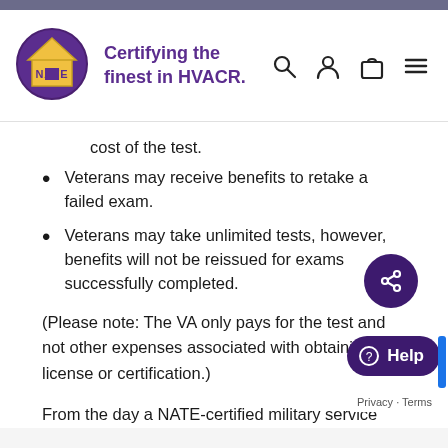[Figure (logo): NATE logo with purple circle and house icon, tagline 'Certifying the finest in HVACR.']
cost of the test.
Veterans may receive benefits to retake a failed exam.
Veterans may take unlimited tests, however, benefits will not be reissued for exams successfully completed.
(Please note: The VA only pays for the test and not other expenses associated with obtaining a license or certification.)
From the day a NATE-certified military service